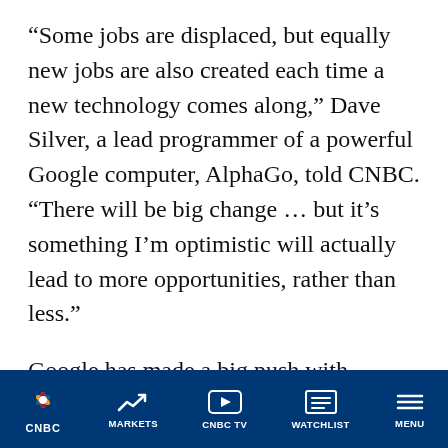“Some jobs are displaced, but equally new jobs are also created each time a new technology comes along,” Dave Silver, a lead programmer of a powerful Google computer, AlphaGo, told CNBC. “There will be big change … but it’s something I’m optimistic will actually lead to more opportunities, rather than less.”
Google has made a big push with artificial intelligence, with its machine, AlphaGo, as the most visible success thus far. The computer has already beat twice this week Ke Jie, a 19 year old and the world’s best player of Go, an ancient
CNBC  MARKETS  CNBC TV  WATCHLIST  MENU